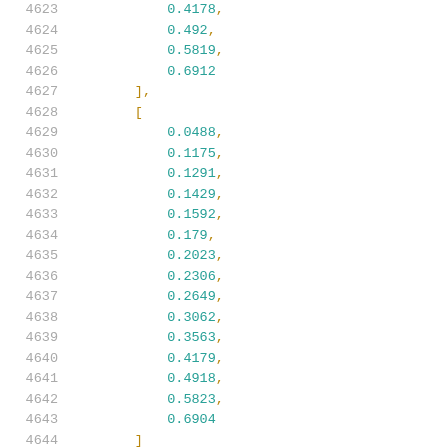Code/data listing showing line numbers 4623-4644 with numeric array values in two bracket groups. Lines 4623-4626 end first array with values 0.4178, 0.492, 0.5819, 0.6912 followed by ], then second array starts at 4628 with [ and contains values 0.0488 through 0.6904 on lines 4629-4643, closing with ] on line 4644.